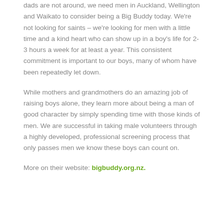dads are not around, we need men in Auckland, Wellington and Waikato to consider being a Big Buddy today. We're not looking for saints – we're looking for men with a little time and a kind heart who can show up in a boy's life for 2-3 hours a week for at least a year. This consistent commitment is important to our boys, many of whom have been repeatedly let down.
While mothers and grandmothers do an amazing job of raising boys alone, they learn more about being a man of good character by simply spending time with those kinds of men. We are successful in taking male volunteers through a highly developed, professional screening process that only passes men we know these boys can count on.
More on their website: bigbuddy.org.nz.